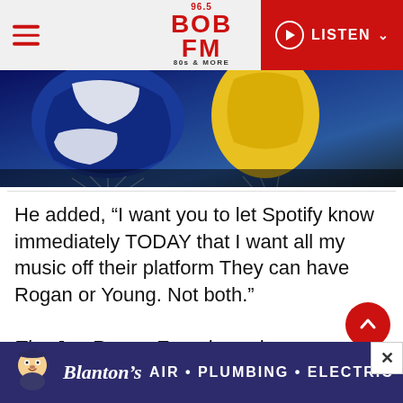96.5 BOB FM 80s & MORE — LISTEN
[Figure (photo): Cropped photo of colorful hot air balloons showing ropes and fabric panels in blue, white, and yellow]
He added, “I want you to let Spotify know immediately TODAY that I want all my music off their platform They can have Rogan or Young. Not both.”
The Joe Rogan Experience has come under fire multiple times during the coronavirus pandemic for spreading misinformation. Most
[Figure (other): Scroll-to-top circular red button with upward chevron arrow]
Blanton’s AIR • PLUMBING • ELECTRIC [advertisement]